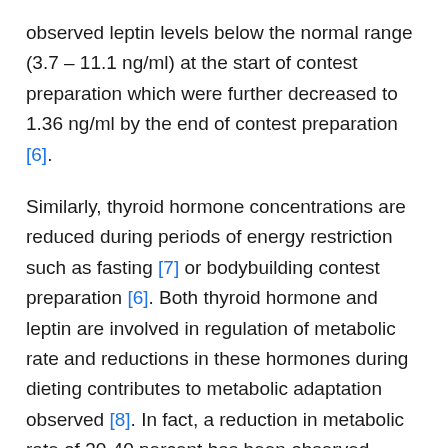observed leptin levels below the normal range (3.7 – 11.1 ng/ml) at the start of contest preparation which were further decreased to 1.36 ng/ml by the end of contest preparation [6].
Similarly, thyroid hormone concentrations are reduced during periods of energy restriction such as fasting [7] or bodybuilding contest preparation [6]. Both thyroid hormone and leptin are involved in regulation of metabolic rate and reductions in these hormones during dieting contributes to metabolic adaptation observed [8]. In fact, a reduction in metabolic rate of 30-40 percent has been observed during natural bodybuilding contest preparation [6].